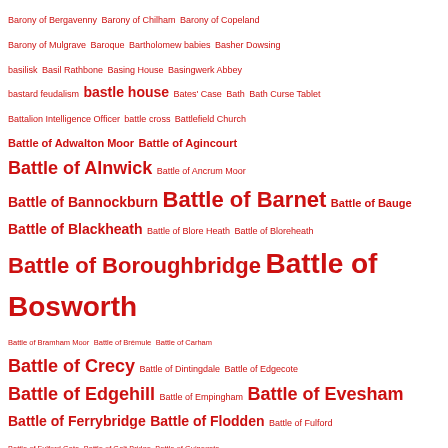Barony of Bergavenny Barony of Chilham Barony of Copeland Barony of Mulgrave Baroque Bartholomew babies Basher Dowsing basilisk Basil Rathbone Basing House Basingwerk Abbey bastard feudalism bastle house Bates' Case Bath Bath Curse Tablet Battalion Intelligence Officer battle cross Battlefield Church Battle of Adwalton Moor Battle of Agincourt Battle of Alnwick Battle of Ancrum Moor Battle of Bannockburn Battle of Barnet Battle of Bauge Battle of Blackheath Battle of Blore Heath Battle of Bloreheath Battle of Boroughbridge Battle of Bosworth Battle of Bramham Moor Battle of Brémule Battle of Carham Battle of Crecy Battle of Dintingdale Battle of Edgecote Battle of Edgehill Battle of Empingham Battle of Evesham Battle of Ferrybridge Battle of Flodden Battle of Fulford Battle of Fulford Gate Battle of Gelt Bridge Battle of Guinegate Battle of Hamilton Hill Battle of Hastings Battle of Hattin Battle of Heathfield Battle of Hedgely Moor Battle of Heworth Moor Battle of Hexham